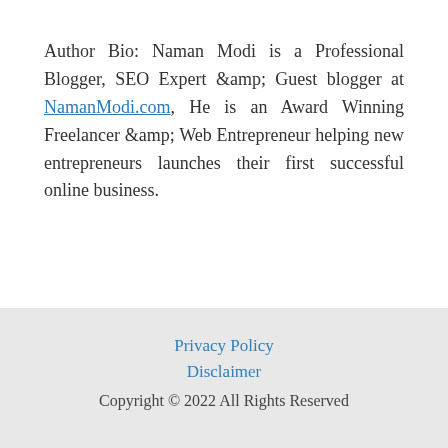Author Bio: Naman Modi is a Professional Blogger, SEO Expert &amp; Guest blogger at NamanModi.com, He is an Award Winning Freelancer &amp; Web Entrepreneur helping new entrepreneurs launches their first successful online business.
Privacy Policy
Disclaimer
Copyright © 2022 All Rights Reserved